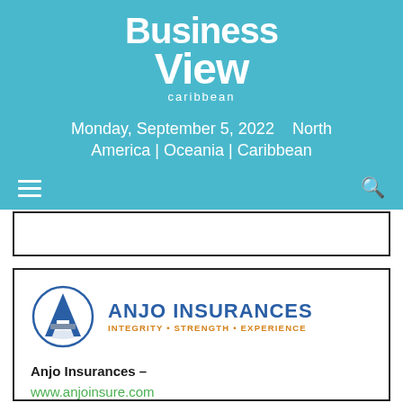[Figure (logo): Business View Caribbean logo — large white bold text 'Business View caribbean' on teal background]
Monday, September 5, 2022    North America | Oceania | Caribbean
[Figure (other): Navigation bar with hamburger menu icon on left and search icon on right, on teal background]
[Figure (logo): Anjo Insurances logo — circular A emblem in blue/grey with text 'ANJO INSURANCES' in blue and tagline 'INTEGRITY • STRENGTH • EXPERIENCE' in orange]
Anjo Insurances –
www.anjoinsure.com